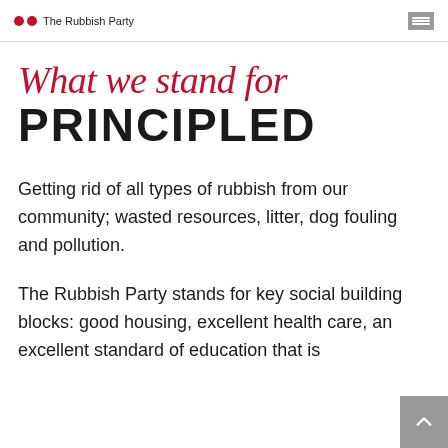The Rubbish Party
What we stand for PRINCIPLED
Getting rid of all types of rubbish from our community; wasted resources, litter, dog fouling and pollution.
The Rubbish Party stands for key social building blocks: good housing, excellent health care, an excellent standard of education that is